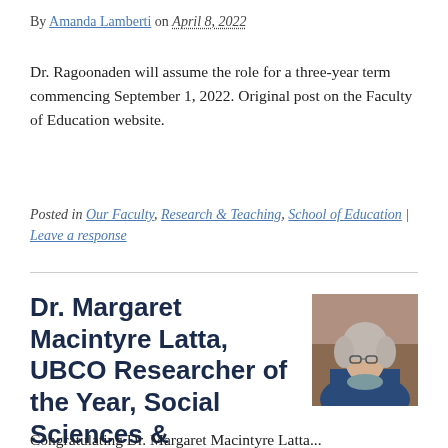By Amanda Lamberti on April 8, 2022
Dr. Ragoonaden will assume the role for a three-year term commencing September 1, 2022. Original post on the Faculty of Education website.
Posted in Our Faculty, Research & Teaching, School of Education | Leave a response
Dr. Margaret Macintyre Latta, UBCO Researcher of the Year, Social Sciences & Humanities
[Figure (photo): Portrait photograph of Dr. Margaret Macintyre Latta, an older woman with gray hair and glasses, wearing a blue jacket, against a warm brown background.]
By Amanda Lamberti on April 7, 2022
Congratulating Dr. Margaret Macintyre Latta...